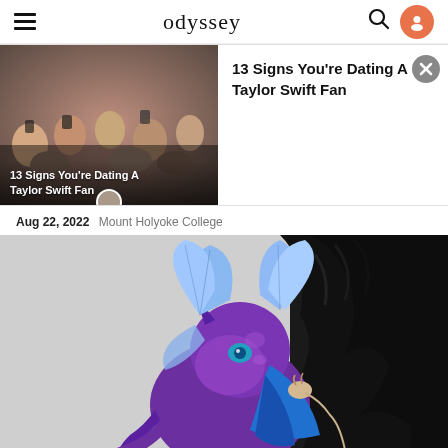odyssey
[Figure (photo): Crowd of fans at a Taylor Swift concert, with text overlay '13 Signs You're Dating A Taylor Swift Fan']
13 Signs You're Dating A Taylor Swift Fan
Aug 22, 2022  Mount Holyoke College
[Figure (illustration): Digital illustration of a purple dragon/horse-like creature with blue butterfly wings and a blue cape, set against a light gray and black background]